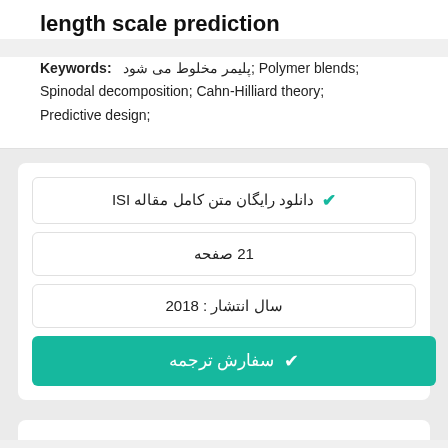length scale prediction
Keywords: پليمر مخلوط می شود; Polymer blends; Spinodal decomposition; Cahn-Hilliard theory; Predictive design;
✔ دانلود رایگان متن کامل مقاله ISI
21 صفحه
سال انتشار : 2018
✔ سفارش ترجمه